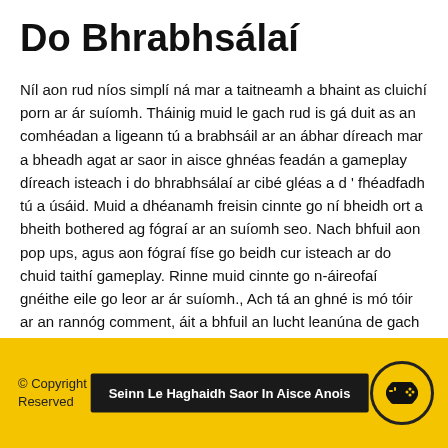Do Bhrabhsálaí
Níl aon rud níos simplí ná mar a taitneamh a bhaint as cluichí porn ar ár suíomh. Tháinig muid le gach rud is gá duit as an comhéadan a ligeann tú a brabhsáil ar an ábhar díreach mar a bheadh agat ar saor in aisce ghnéas feadán a gameplay díreach isteach i do bhrabhsálaí ar cibé gléas a d ' fhéadfadh tú a úsáid. Muid a dhéanamh freisin cinnte go ní bheidh ort a bheith bothered ag fógraí ar an suíomh seo. Nach bhfuil aon pop ups, agus aon fógraí físe go beidh cur isteach ar do chuid taithí gameplay. Rinne muid cinnte go n-áireofaí gnéithe eile go leor ar ár suíomh., Ach tá an ghné is mó tóir ar an rannóg comment, áit a bhfuil an lucht leanúna de gach ceann de an tsraith beoite a bhí spoofed i na cluichí perving ar shiúl faoi na carachtair, a fhios agam go bhfuil a n-fantasy sábháilte le linn.
© Copyright ... Reserved | Seinn Le Haghaidh Saor In Aisce Anois